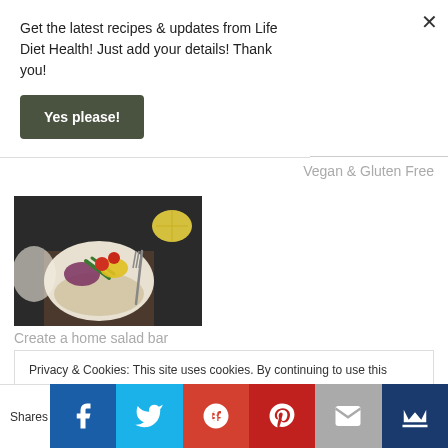Get the latest recipes & updates from Life Diet Health! Just add your details! Thank you!
Yes please!
Vegan & Gluten Free
[Figure (photo): Overhead view of a colorful salad bowl with vegetables and a fork on a wooden board]
Create a home salad bar
Privacy & Cookies: This site uses cookies. By continuing to use this website, you agree to their use.
To find out more, including how to control cookies, see here: Cookie Policy
Shares